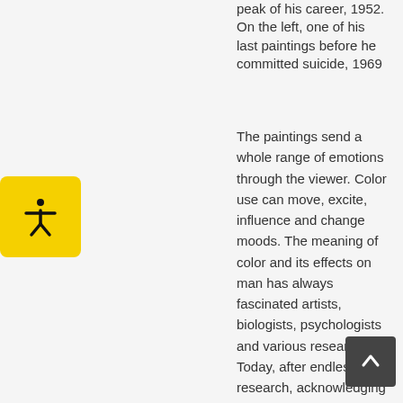peak of his career, 1952. On the left, one of his last paintings before he committed suicide, 1969
The paintings send a whole range of emotions through the viewer. Color use can move, excite, influence and change moods. The meaning of color and its effects on man has always fascinated artists, biologists, psychologists and various researchers. Today, after endless research, acknowledging the influence of color on our emotions is a consensus. We are affected by color at a biological level, and our color preferences change according to age, emotional state